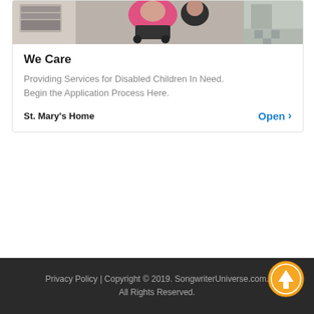[Figure (photo): Partial photo of children in a room, cropped at top of card]
We Care
Providing Services for Disabled Children In Need. Begin the Application Process Here.
St. Mary's Home   Open >
Privacy Policy | Copyright © 2019. SongwriterUniverse.com. All Rights Reserved.